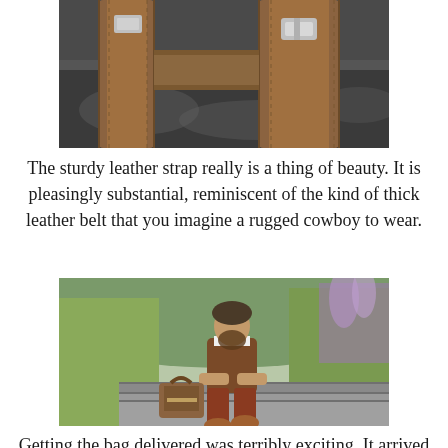[Figure (photo): Close-up photo of a sturdy brown leather strap with buckle hardware on a dark surface]
The sturdy leather strap really is a thing of beauty. It is pleasingly substantial, reminiscent of the kind of thick leather belt that you imagine a rugged cowboy to wear.
[Figure (photo): A bearded man wearing a white shirt and rust-colored vest and trousers sits on stone steps outdoors with a brown leather satchel bag beside him, surrounded by tall grasses and wildflowers]
Getting the bag delivered was terribly exciting. It arrived